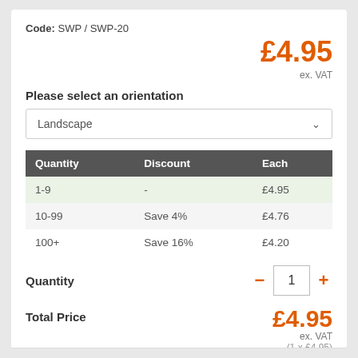Code: SWP / SWP-20
£4.95 ex. VAT
Please select an orientation
Landscape
| Quantity | Discount | Each |
| --- | --- | --- |
| 1-9 | - | £4.95 |
| 10-99 | Save 4% | £4.76 |
| 100+ | Save 16% | £4.20 |
Quantity  —  1  +
Total Price  £4.95 ex. VAT  (1 x £4.95)